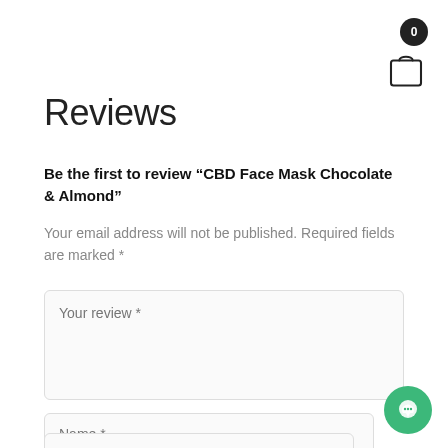[Figure (illustration): Shopping cart icon with badge showing 0 in top-right corner]
Reviews
Be the first to review “CBD Face Mask Chocolate & Almond”
Your email address will not be published. Required fields are marked *
Your review *
Name *
[Figure (illustration): Green circular chat/message button in bottom-right corner]